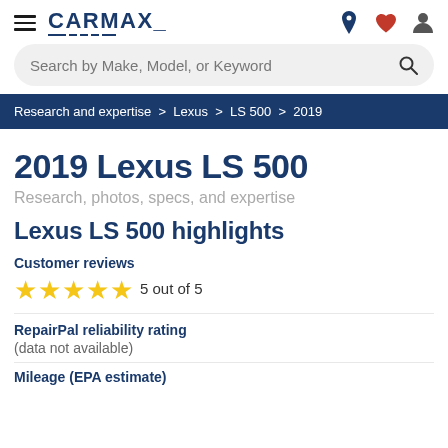CarMax navigation header with hamburger menu, CarMax logo, location pin, favorites heart, and user icons
Search by Make, Model, or Keyword
Research and expertise > Lexus > LS 500 > 2019
2019 Lexus LS 500
Research, photos, specs, and expertise
Lexus LS 500 highlights
Customer reviews
5 out of 5
RepairPal reliability rating
(data not available)
Mileage (EPA estimate)